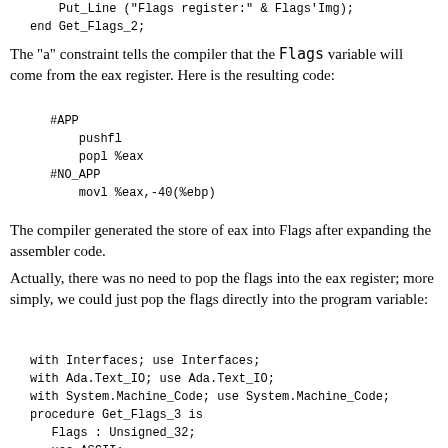Put_Line ("Flags register:" & Flags'Img);
end Get_Flags_2;
The "a" constraint tells the compiler that the Flags variable will come from the eax register. Here is the resulting code:
#APP
    pushfl
    popl %eax
#NO_APP
    movl %eax,-40(%ebp)
The compiler generated the store of eax into Flags after expanding the assembler code.
Actually, there was no need to pop the flags into the eax register; more simply, we could just pop the flags directly into the program variable:
with Interfaces; use Interfaces;
with Ada.Text_IO; use Ada.Text_IO;
with System.Machine_Code; use System.Machine_Code;
procedure Get_Flags_3 is
   Flags : Unsigned_32;
   use ASCII;
begin
   Asm ("pushfl"  & LF & HT & -- push flags on stack
        "pop %0",              -- save flags in Flags
        Outputs => Unsigned_32'Asm_Output ("=g", Flags));
   Put_Line ("Flags register:" & Flags'Img);
end Get_Flags_3;